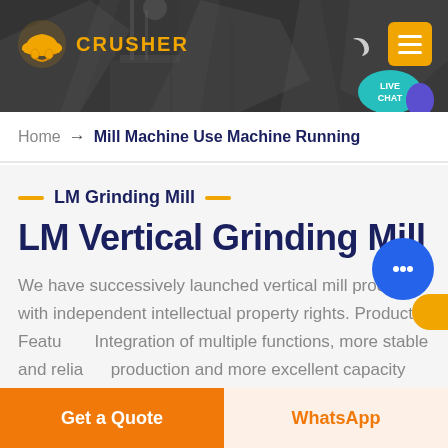[Figure (screenshot): Website header banner with dark rocky background, orange logo icon with hard hat symbol on left, 'CRUSHER' text, moon/dark mode icon and orange hamburger menu button on right, teal Live Chat speech bubble in bottom right corner]
Home → Mill Machine Use Machine Running
— LM Grinding Mill —
LM Vertical Grinding Mill
We have successively launched vertical mill products with independent intellectual property rights. Product Features: Integration of multiple functions, more stable and reliable production and more excellent capacity
Get a Quote
WhatsApp